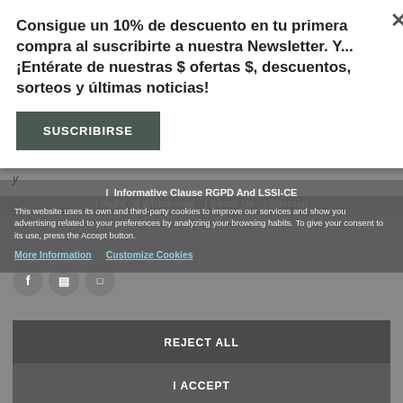[Figure (screenshot): Newsletter subscription modal popup with white background, close button (×), bold promotional text in Spanish about 10% discount, and a dark green 'SUSCRIBIRSE' button]
Consigue un 10% de descuento en tu primera compra al suscribirte a nuestra Newsletter. Y...¡Entérate de nuestras $ ofertas $, descuentos, sorteos y últimas noticias!
SUSCRIBIRSE
| Informative Clause RGPD And LSSI-CE
| Right Of Withdrawal | About Us | Sitemap
This website uses its own and third-party cookies to improve our services and show you advertising related to your preferences by analyzing your browsing habits. To give your consent to its use, press the Accept button.
More Information   Customize Cookies
REJECT ALL
I ACCEPT
Entreguemos todos los pedidos a partir del 22 de agosto